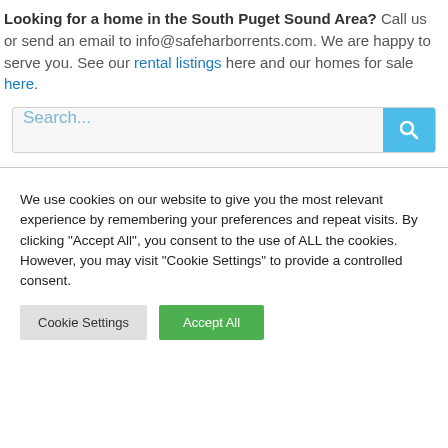Looking for a home in the South Puget Sound Area? Call us or send an email to info@safeharborrents.com. We are happy to serve you. See our rental listings here and our homes for sale here.
[Figure (other): Search bar with text input placeholder 'Search...' and a blue search button with magnifying glass icon]
We use cookies on our website to give you the most relevant experience by remembering your preferences and repeat visits. By clicking "Accept All", you consent to the use of ALL the cookies. However, you may visit "Cookie Settings" to provide a controlled consent.